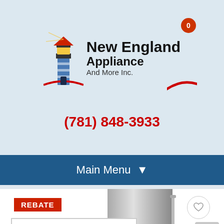[Figure (logo): New England Appliance And More Inc. logo with lighthouse illustration]
(781) 848-3933
Main Menu
REBATE
[Figure (photo): Stainless steel refrigerator product image with overlay text: SHOWN WITH PROFESSIONAL SERIES STYLE HANDLES]